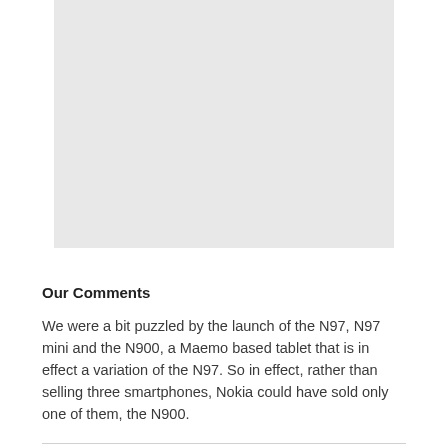[Figure (photo): Light gray rectangular placeholder image at the top of the page]
Our Comments
We were a bit puzzled by the launch of the N97, N97 mini and the N900, a Maemo based tablet that is in effect a variation of the N97. So in effect, rather than selling three smartphones, Nokia could have sold only one of them, the N900.